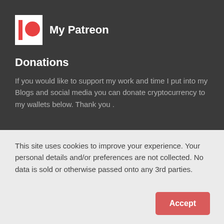[Figure (logo): Patreon logo: white square background with red vertical bar on left and red circle on right]
My Patreon
Donations
If you would like to support my work and time I put into my Blogs and social media you can donate cryptocurrency to my wallets below. Thank you .
This site uses cookies to improve your experience. Your personal details and/or preferences are not collected. No data is sold or otherwise passed onto any 3rd parties.